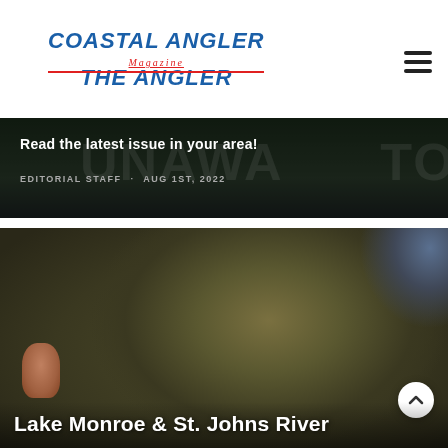COASTAL ANGLER Magazine THE ANGLER
[Figure (photo): Blurred magazine cover image with large dark background text partially visible reading ONAWA...TOOT]
Read the latest issue in your area!
EDITORIAL STAFF · AUG 1ST, 2022
[Figure (photo): Close-up photo of a fish (crappie or similar panfish) being held, showing detailed scale texture, with a thumb visible at bottom left]
Lake Monroe & St. Johns River